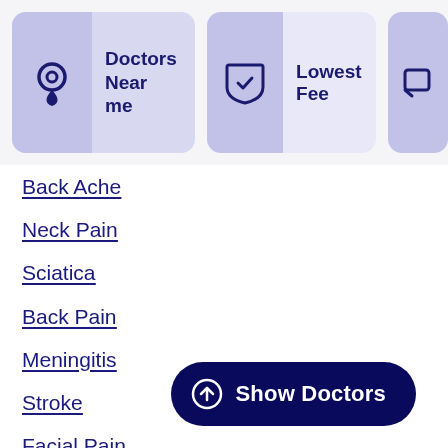[Figure (screenshot): Header navigation bar with 'Doctors Near me' card (location pin icon, purple background) and 'Lowest Fee' card (shield icon, light purple background), and a partially visible third card on the right.]
Back Ache
Neck Pain
Sciatica
Back Pain
Meningitis
Stroke
Facial Pain
Epilepsy
Headache
Memory Loss
Show Doctors